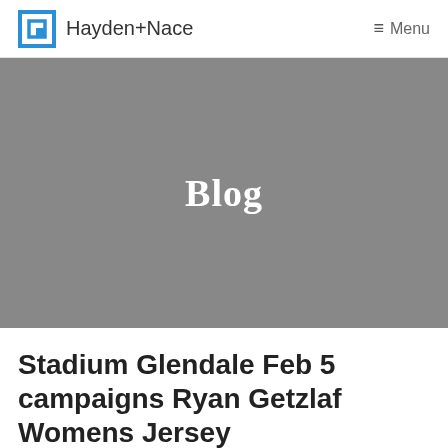Hayden+Nace  ≡ Menu
[Figure (other): Gray hero banner with bold white text reading 'Blog']
Stadium Glendale Feb 5 campaigns Ryan Getzlaf Womens Jersey